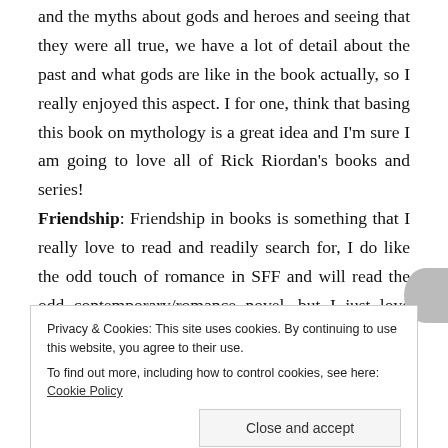and the myths about gods and heroes and seeing that they were all true, we have a lot of detail about the past and what gods are like in the book actually, so I really enjoyed this aspect. I for one, think that basing this book on mythology is a great idea and I'm sure I am going to love all of Rick Riordan's books and series!
Friendship: Friendship in books is something that I really love to read and readily search for, I do like the odd touch of romance in SFF and will read the odd contemporary/romance novel, but I just love when
and Grover were friends from the start, and then Annabeth